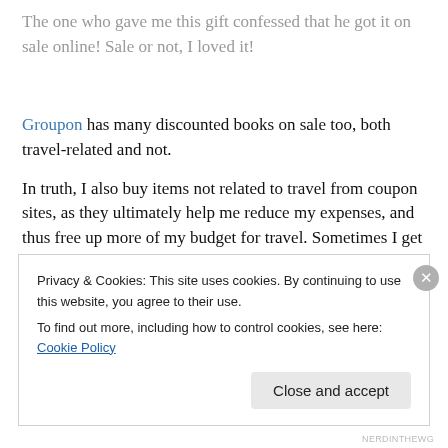The one who gave me this gift confessed that he got it on sale online! Sale or not, I loved it!
Groupon has many discounted books on sale too, both travel-related and not.
In truth, I also buy items not related to travel from coupon sites, as they ultimately help me reduce my expenses, and thus free up more of my budget for travel. Sometimes I get
Privacy & Cookies: This site uses cookies. By continuing to use this website, you agree to their use.
To find out more, including how to control cookies, see here: Cookie Policy
Close and accept
NERDINTHEWG